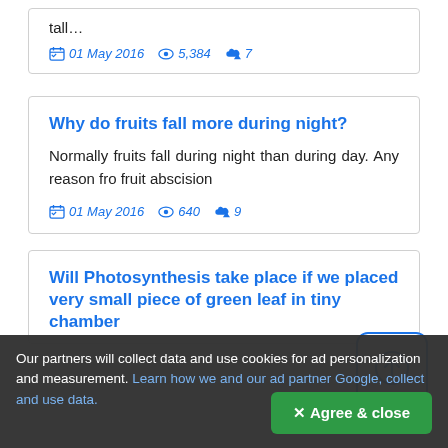tall…
01 May 2016  5,384  7
Why do fruits fall more during night?
Normally fruits fall during night than during day. Any reason fro fruit abscision
01 May 2016  640  9
Will Photosynthesis take place if we placed very small piece of green leaf in tiny chamber
Our partners will collect data and use cookies for ad personalization and measurement. Learn how we and our ad partner Google, collect and use data.